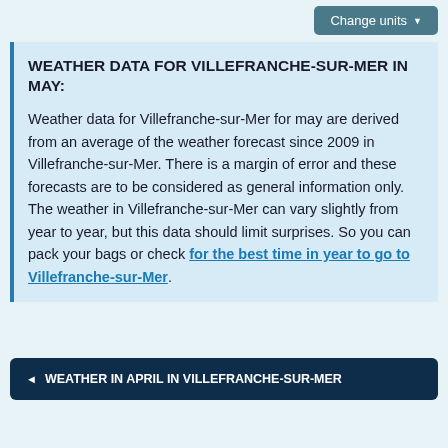Change units
WEATHER DATA FOR VILLEFRANCHE-SUR-MER IN MAY:
Weather data for Villefranche-sur-Mer for may are derived from an average of the weather forecast since 2009 in Villefranche-sur-Mer. There is a margin of error and these forecasts are to be considered as general information only. The weather in Villefranche-sur-Mer can vary slightly from year to year, but this data should limit surprises. So you can pack your bags or check for the best time in year to go to Villefranche-sur-Mer.
◄ WEATHER IN APRIL IN VILLEFRANCHE-SUR-MER